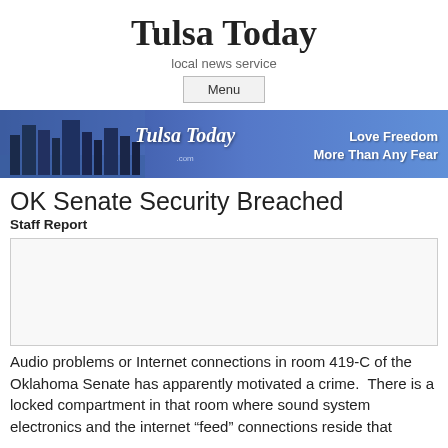Tulsa Today
local news service
Menu
[Figure (photo): Tulsa Today banner with city skyline on the left and tagline 'Love Freedom More Than Any Fear' on the right over a blue background with the Tulsa Today logo in the center.]
OK Senate Security Breached
Staff Report
[Figure (photo): Empty white/light gray image placeholder box]
Audio problems or Internet connections in room 419-C of the Oklahoma Senate has apparently motivated a crime.  There is a locked compartment in that room where sound system electronics and the internet “feed” connections reside that